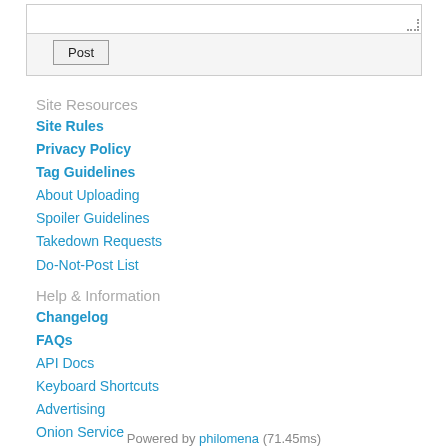Site Resources
Site Rules
Privacy Policy
Tag Guidelines
About Uploading
Spoiler Guidelines
Takedown Requests
Do-Not-Post List
Help & Information
Changelog
FAQs
API Docs
Keyboard Shortcuts
Advertising
Onion Service
Community
Contact
Donations
Site Staff List
Statistics
About
Twitter
Powered by philomena (71.45ms)